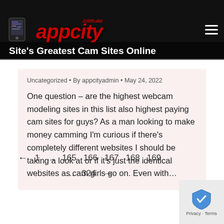appcity.com.au
Site's Greatest Cam Sites Online
Uncategorized · By appcityadmin · May 24, 2022
One question – are the highest webcam modeling sites in this list also highest paying cam sites for guys? As a man looking to make money camming I'm curious if there's completely different websites I should be taking a look at or if it's just the identical websites as cam girls go on. Even with...
← 1 ... 165 166 167 168 169 ... 324 →